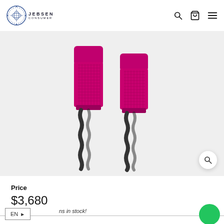Jebsen Consumer - navigation header with search, cart, and menu icons
[Figure (photo): Two pink/fuchsia cylindrical Dyson hair tool attachments with black coiled cords, shown on a light grey background]
Price
$3,680
ns in stock!